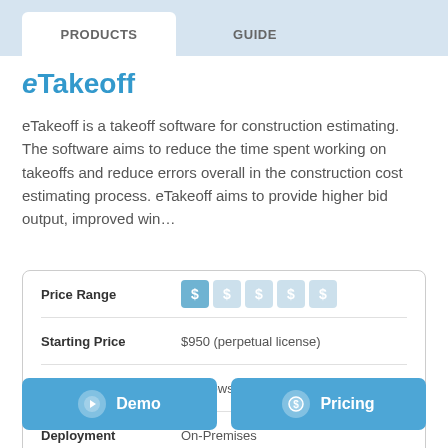PRODUCTS   GUIDE
eTakeoff
eTakeoff is a takeoff software for construction estimating. The software aims to reduce the time spent working on takeoffs and reduce errors overall in the construction cost estimating process. eTakeoff aims to provide higher bid output, improved win…
|  |  |
| --- | --- |
| Price Range | $ $ $ $ $ |
| Starting Price | $950 (perpetual license) |
| Client OS | Windows |
| Deployment | On-Premises |
Demo   Pricing